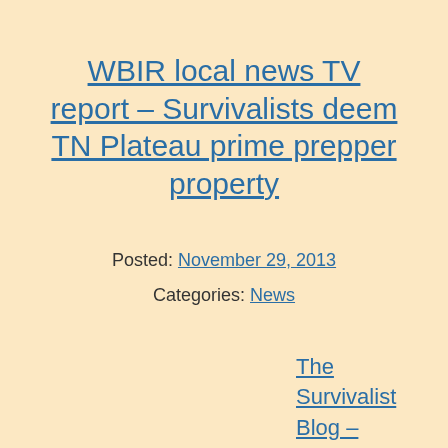WBIR local news TV report – Survivalists deem TN Plateau prime prepper property
Posted: November 29, 2013
Categories: News
The Survivalist Blog – by M.D. Creekmore
A couple of days ago